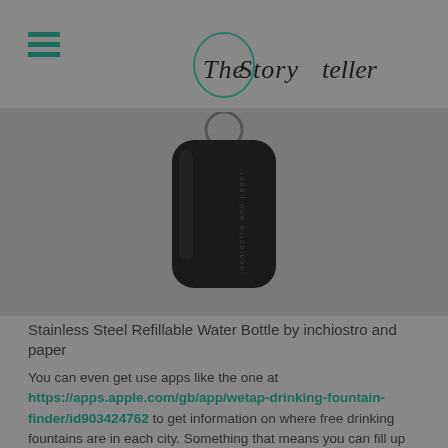The Storyteller
[Figure (photo): A dark matte black cylindrical stainless steel refillable water bottle by inchiostro and paper, centered on a grey background with a small ring loop at the top.]
Stainless Steel Refillable Water Bottle by inchiostro and paper
You can even get use apps like the one at https://apps.apple.com/gb/app/wetap-drinking-fountain-finder/id903424762 to get information on where free drinking fountains are in each city. Something that means you can fill up your bottle and stay hydrated even as you wander